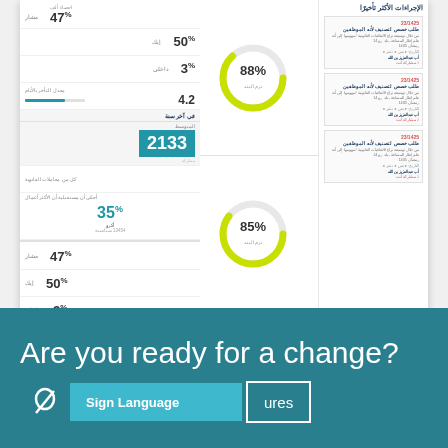[Figure (screenshot): Arabic e-government dashboard screenshot showing procedures list on the right, donut charts in the middle (88% and 85%), and statistics panels on the left with percentages 47%, 50%, 3%, 4.2 and numbers 2133, 70%, 35%. Section header 'في آخر سنة' (In the last year). Text in Arabic throughout.]
Are you ready for a change?
Sign Language
ures